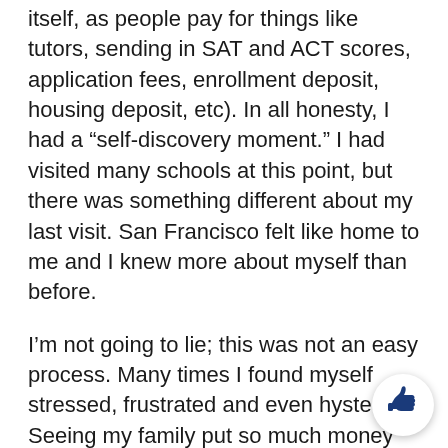itself, as people pay for things like tutors, sending in SAT and ACT scores, application fees, enrollment deposit, housing deposit, etc). In all honesty, I had a “self-discovery moment.” I had visited many schools at this point, but there was something different about my last visit. San Francisco felt like home to me and I knew more about myself than before.
I’m not going to lie; this was not an easy process. Many times I found myself stressed, frustrated and even hysterical. Seeing my family put so much money and time into this wasn’t easy either, and I often wondered if it was all worth it.
After coming home, however, I’m sure that everyone close to me would say that they saw a certain glow about me every time I talked about my decision. I a so excited to start this new chapter in my life and c
[Figure (illustration): Thumbs up icon in a white circle with shadow, positioned bottom-right corner]